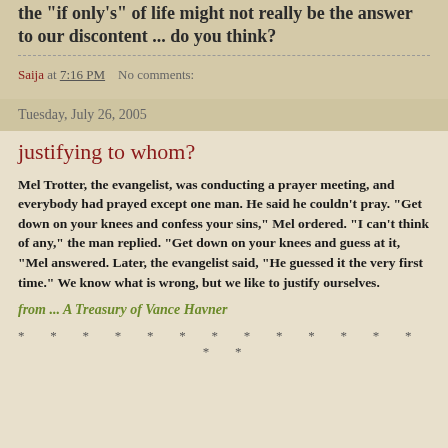the "if only's" of life might not really be the answer to our discontent ... do you think?
Saija at 7:16 PM   No comments:
Tuesday, July 26, 2005
justifying to whom?
Mel Trotter, the evangelist, was conducting a prayer meeting, and everybody had prayed except one man. He said he couldn't pray. "Get down on your knees and confess your sins," Mel ordered. "I can't think of any," the man replied. "Get down on your knees and guess at it, "Mel answered. Later, the evangelist said, "He guessed it the very first time." We know what is wrong, but we like to justify ourselves.
from ... A Treasury of Vance Havner
* * * * * * * * * * * * * * *